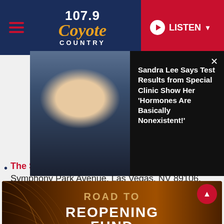107.9 Coyote Country — LISTEN
[Figure (screenshot): Overlay notification card showing a blonde woman's photo and headline: Sandra Lee Says Test Results from Special Clinic Show Her 'Hormones Are Basically Nonexistent!']
The Smith Center for the Performing Arts 361 Symphony Park Avenue, Las Vegas, NV 89106. Road to Reopening Fund. Click HERE to donate.
[Figure (photo): Road to Reopening Fund advertisement banner for The Smith Center, showing interior of concert hall with arched ceiling, brown/amber color scheme, white and gold text reading ROAD TO REOPENING FUND with The Smith Center logo]